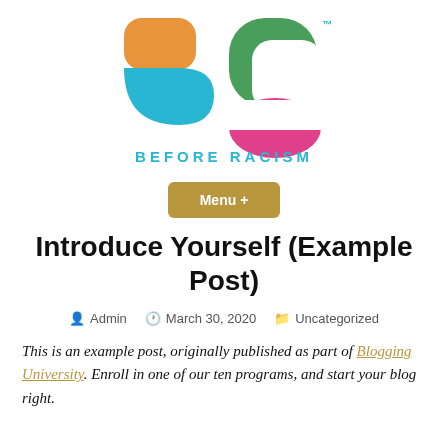[Figure (logo): Before Racism logo: colorful rounded square shapes forming stylized letters B and G/C, with orange, blue, green, and pink shapes. TM mark top right. Text below reads BEFORE RACISM in cyan/blue uppercase letters.]
[Figure (other): Golden/tan rounded rectangle button with white bold text: Menu +]
Introduce Yourself (Example Post)
Admin   March 30, 2020   Uncategorized
This is an example post, originally published as part of Blogging University. Enroll in one of our ten programs, and start your blog right.